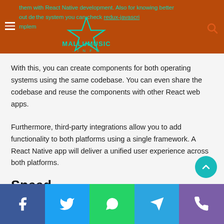them with React Native development. Also for knowing better about designing the system you can check redux-javascript implementation (partial text visible in header)
With this, you can create components for both operating systems using the same codebase. You can even share the codebase and reuse the components with other React web apps.
Furthermore, third-party integrations allow you to add functionality to both platforms using a single framework. A React Native app will deliver a unified user experience across both platforms.
Speed